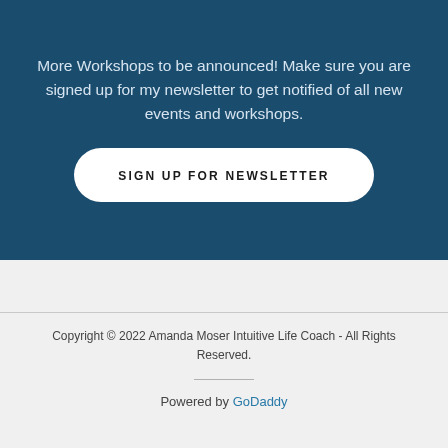More Workshops to be announced! Make sure you are signed up for my newsletter to get notified of all new events and workshops.
SIGN UP FOR NEWSLETTER
Copyright © 2022 Amanda Moser Intuitive Life Coach - All Rights Reserved.
Powered by GoDaddy